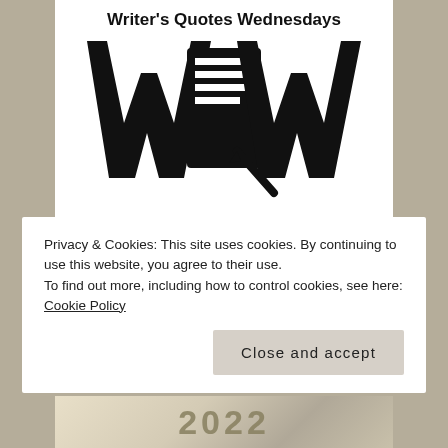[Figure (logo): Writer's Quotes Wednesdays logo: large stylized WQW letters in black with a document/pen icon in the center, text 'Writer's Quotes Wednesdays' above.]
Marsha's Writer's Quotes Wednesdays
Privacy & Cookies: This site uses cookies. By continuing to use this website, you agree to their use.
To find out more, including how to control cookies, see here: Cookie Policy
Close and accept
[Figure (photo): Bottom strip showing partial image with '2022' text in decorative style.]